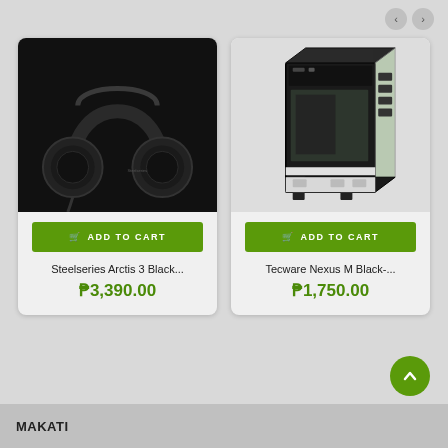[Figure (screenshot): Navigation arrows (left and right) for carousel]
[Figure (photo): Steelseries Arctis 3 Black gaming headset on black background]
ADD TO CART
Steelseries Arctis 3 Black...
₱3,390.00
[Figure (photo): Tecware Nexus M Black PC case on light background]
ADD TO CART
Tecware Nexus M Black-...
₱1,750.00
MAKATI